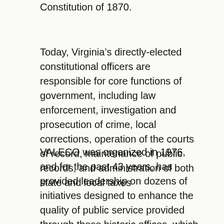Constitution of 1870.
Today, Virginia’s directly-elected constitutional officers are responsible for core functions of government, including law enforcement, investigation and prosecution of crime, local corrections, operation of the courts of record, maintenance of public records, and administration of both state and local taxes
VALECO was organized in 1976, and for the past 43 years, has provided leadership on dozens of initiatives designed to enhance the quality of public service provided through these historic offices, which stand as a shining example of Thomas Jefferson’s vision of government that is close to the people.